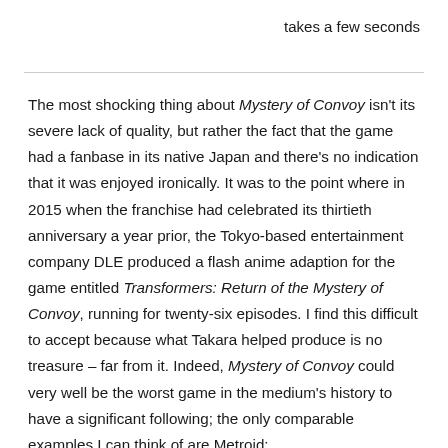takes a few seconds
The most shocking thing about Mystery of Convoy isn't its severe lack of quality, but rather the fact that the game had a fanbase in its native Japan and there's no indication that it was enjoyed ironically. It was to the point where in 2015 when the franchise had celebrated its thirtieth anniversary a year prior, the Tokyo-based entertainment company DLE produced a flash anime adaption for the game entitled Transformers: Return of the Mystery of Convoy, running for twenty-six episodes. I find this difficult to accept because what Takara helped produce is no treasure – far from it. Indeed, Mystery of Convoy could very well be the worst game in the medium's history to have a significant following; the only comparable examples I can think of are Metroid: